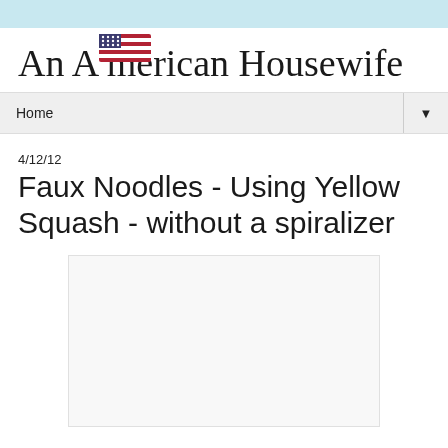[Figure (logo): An American Housewife blog logo in cursive script with a small American flag graphic embedded in the text]
Home
4/12/12
Faux Noodles - Using Yellow Squash - without a spiralizer
[Figure (photo): A blank/white image placeholder box]